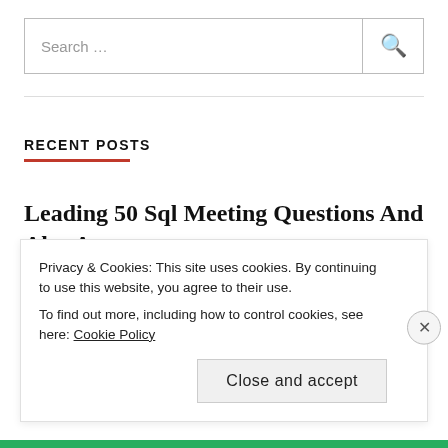Search ...
RECENT POSTS
Leading 50 Sql Meeting Questions And Also Answers
Sql Interview Questions You Must Think About
Privacy & Cookies: This site uses cookies. By continuing to use this website, you agree to their use.
To find out more, including how to control cookies, see here: Cookie Policy
Close and accept